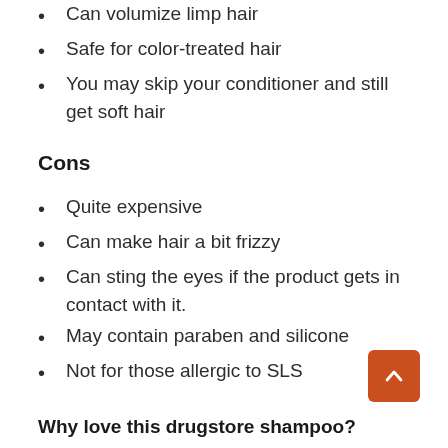Can volumize limp hair
Safe for color-treated hair
You may skip your conditioner and still get soft hair
Cons
Quite expensive
Can make hair a bit frizzy
Can sting the eyes if the product gets in contact with it.
May contain paraben and silicone
Not for those allergic to SLS
Why love this drugstore shampoo?